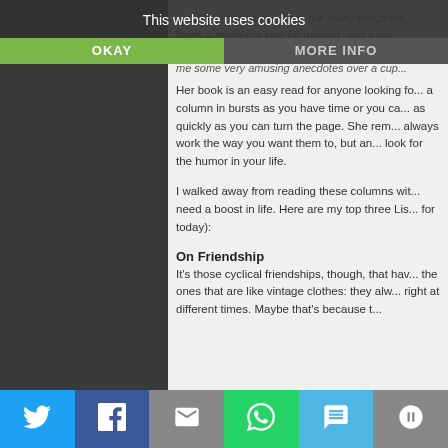This website uses cookies
OKAY
MORE INFO
...to their own lives. There are many things that... being a mother, a love for running, and a wo... ...ds but also about the community she live... me some very amusing anecdotes over a cup...
Her book is an easy read for anyone looking fo... a column in bursts as you have time or you ca... as quickly as you can turn the page. She rem... always work the way you want them to, but an... look for the humor in your life.
I walked away from reading these columns wit... need a boost in life. Here are my top three Lisa... for today):
On Friendship
It's those cyclical friendships, though, that hav... the ones that are like vintage clothes: they alw... right at different times. Maybe that's because t...